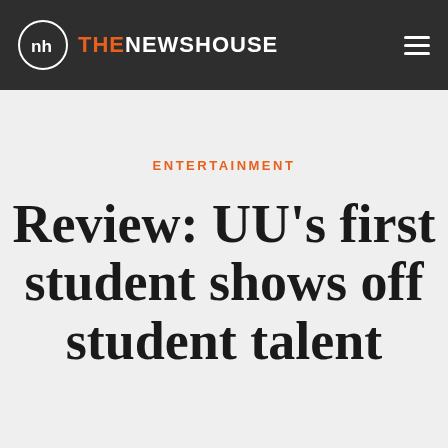THE NEWS HOUSE
ENTERTAINMENT
Review: UU's first student shows off student talent